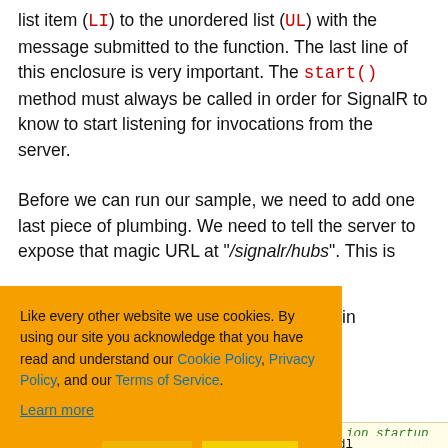list item (LI) to the unordered list (UL) with the message submitted to the function. The last line of this enclosure is very important. The start() method must always be called in order for SignalR to know to start listening for invocations from the server.
Before we can run our sample, we need to add one last piece of plumbing. We need to tell the server to expose that magic URL at "/signalr/hubs". This is
Like every other website we use cookies. By using our site you acknowledge that you have read and understand our Cookie Policy, Privacy Policy, and our Terms of Service. Learn more
Ask me later  Decline  Allow cookies